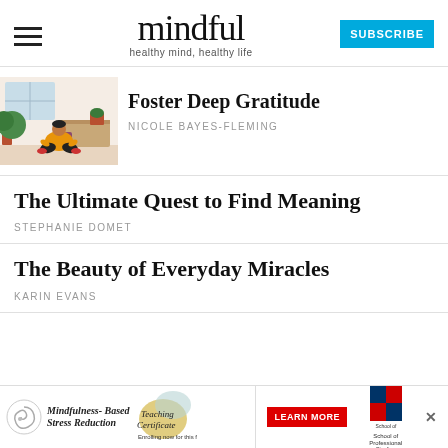mindful — healthy mind, healthy life — SUBSCRIBE
Foster Deep Gratitude
NICOLE BAYES-FLEMING
The Ultimate Quest to Find Meaning
STEPHANIE DOMET
The Beauty of Everyday Miracles
KARIN EVANS
[Figure (illustration): Illustrated person sitting cross-legged meditating in a room with plants]
[Figure (other): Advertisement banner: Mindfulness-Based Stress Reduction / Teaching Certificate — Enrolling now for this fall. School of Professional Studies. LEARN MORE button.]